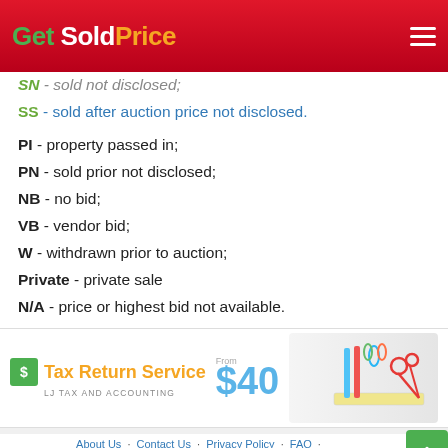Get Sold Price
SN - sold not disclosed;
SS - sold after auction price not disclosed.
PI - property passed in;
PN - sold prior not disclosed;
NB - no bid;
VB - vendor bid;
W - withdrawn prior to auction;
Private - private sale
N/A - price or highest bid not available.
[Figure (infographic): Advertisement banner for Tax Return Service by LJ Tax and Accounting, from $40]
About Us · Contact Us · Privacy Policy · FAQ · Sitemap
The information collected from many public sources; deemed reliable but not guaranteed.